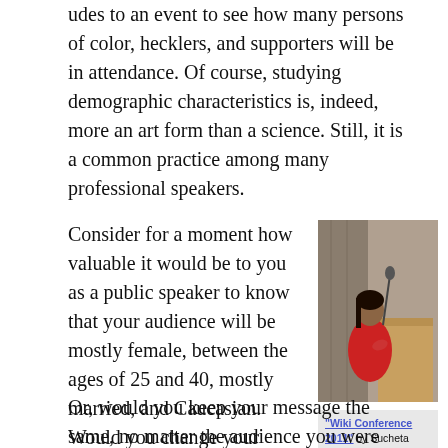udes to an event to see how many persons of color, hecklers, and supporters will be in attendance. Of course, studying demographic characteristics is, indeed, more an art form than a science. Still, it is a common practice among many professional speakers.
Consider for a moment how valuable it would be to you as a public speaker to know that your audience will be mostly female, between the ages of 25 and 40, mostly married, and Caucasian. Would you change your message to fit this demographic? Or, would you keep your message the same, no matter the audience you were addressing?
[Figure (photo): A young woman in a red top speaking at a podium with a microphone, in front of a wooden panel background. Photo credit: Wiki Conference 2011 by Sucheta Ghoshal. CC-BY-SA.]
"Wiki Conference 2011" by Sucheta Ghoshal. CC-BY-SA.